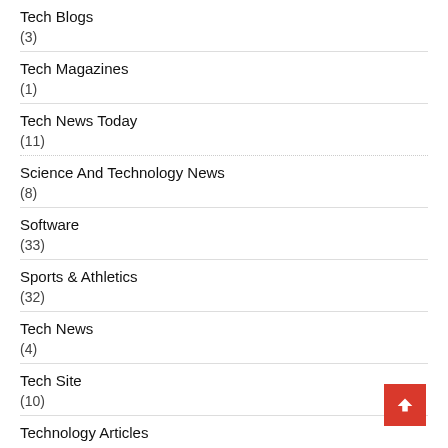Tech Blogs
(3)
Tech Magazines
(1)
Tech News Today
(11)
Science And Technology News
(8)
Software
(33)
Sports & Athletics
(32)
Tech News
(4)
Tech Site
(10)
Technology Articles